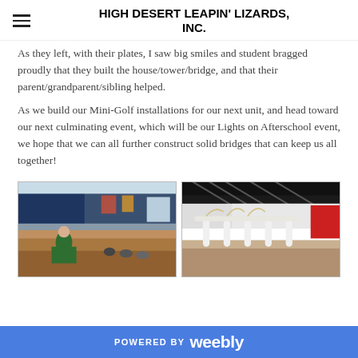HIGH DESERT LEAPIN' LIZARDS, INC.
As they left, with their plates, I saw big smiles and student bragged proudly that they built the house/tower/bridge, and that their parent/grandparent/sibling helped.
As we build our Mini-Golf installations for our next unit, and head toward our next culminating event, which will be our Lights on Afterschool event, we hope that we can all further construct solid bridges that can keep us all together!
[Figure (photo): Interior of a school gymnasium or multipurpose room with students seated on the floor, a person in green shirt standing, blue curtains and bleachers visible in the background]
[Figure (photo): Close-up of a student-built bridge model made from white cardboard tubes and materials, with a dark industrial structure visible in the background]
POWERED BY weebly